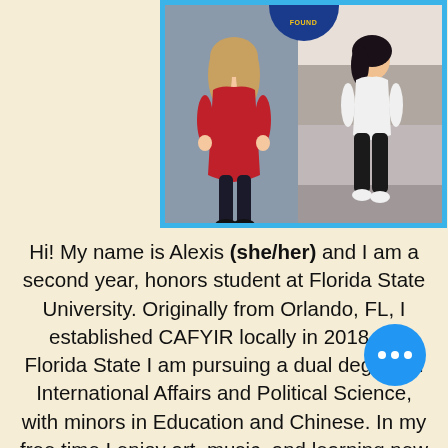[Figure (photo): Two photos of Alexis side by side in a blue-bordered frame. Left photo shows her in a red dress posing. Right photo shows her in athletic outfit at an event. A circular badge/logo is visible at top right.]
Hi! My name is Alexis (she/her) and I am a second year, honors student at Florida State University. Originally from Orlando, FL, I established CAFYIR locally in 2018. At Florida State I am pursuing a dual degree in International Affairs and Political Science, with minors in Education and Chinese. In my free time I enjoy art, music, and learning new tricks on the Chinese yoyo! When I started CAFYIR, four years ago, I saw a need for an education-based program that focused on providing youth with a unique, career-oriented